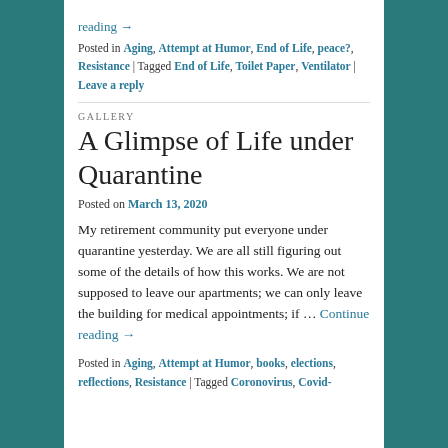reading →
Posted in Aging, Attempt at Humor, End of Life, peace?, Resistance | Tagged End of Life, Toilet Paper, Ventilator | Leave a reply
GALLERY
A Glimpse of Life under Quarantine
Posted on March 13, 2020
My retirement community put everyone under quarantine yesterday. We are all still figuring out some of the details of how this works. We are not supposed to leave our apartments; we can only leave the building for medical appointments; if … Continue reading →
Posted in Aging, Attempt at Humor, books, elections, reflections, Resistance | Tagged Coronovirus, Covid-